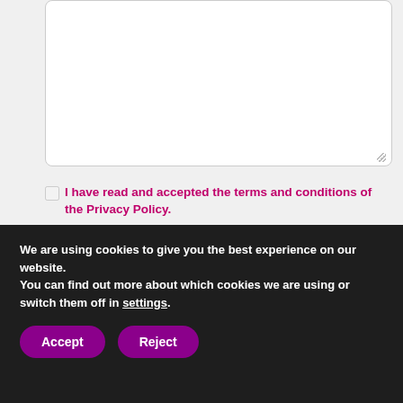[Figure (screenshot): A large empty textarea input box with rounded corners and a resize handle in the bottom right corner]
I have read and accepted the terms and conditions of the Privacy Policy.
[Figure (screenshot): A 'Send' button with rounded pill shape, light background with grey border]
We are using cookies to give you the best experience on our website.
You can find out more about which cookies we are using or switch them off in settings.
Accept
Reject